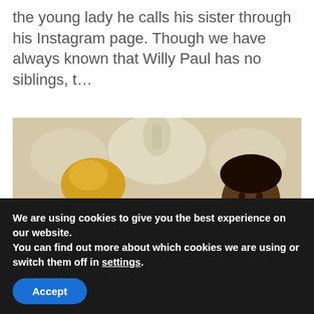the young lady he calls his sister through his Instagram page. Though we have always known that Willy Paul has no siblings, t…
[Figure (photo): A photograph of two adults and a child. A woman in a pink/magenta dress with blonde hair is on the left, a man in a grey jacket is on the right, and a small child sits between them. They appear to be sitting on an ornate white/gold sofa. A red arrow annotation points to the child.]
We are using cookies to give you the best experience on our website.
You can find out more about which cookies we are using or switch them off in settings.
Accept